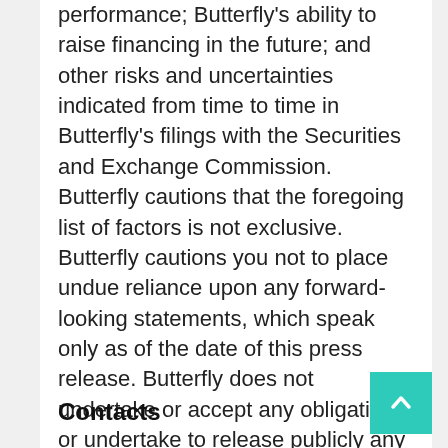performance; Butterfly's ability to raise financing in the future; and other risks and uncertainties indicated from time to time in Butterfly's filings with the Securities and Exchange Commission. Butterfly cautions that the foregoing list of factors is not exclusive. Butterfly cautions you not to place undue reliance upon any forward-looking statements, which speak only as of the date of this press release. Butterfly does not undertake or accept any obligation or undertake to release publicly any updates or revisions to any forward-looking statements to reflect any change in Butterfly's expectations or any change in events, conditions or circumstances on which any such statement is based.
Contacts